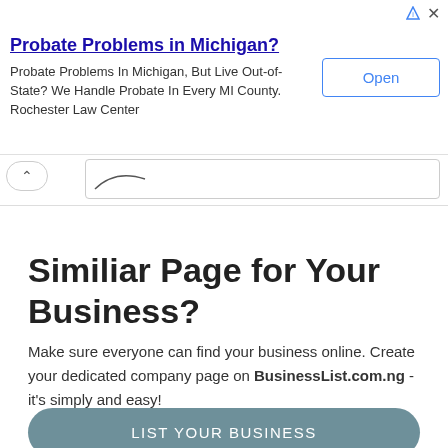[Figure (screenshot): Advertisement banner for Rochester Law Center about Probate Problems in Michigan with an Open button]
Similiar Page for Your Business?
Make sure everyone can find your business online. Create your dedicated company page on BusinessList.com.ng - it's simply and easy!
LIST YOUR BUSINESS